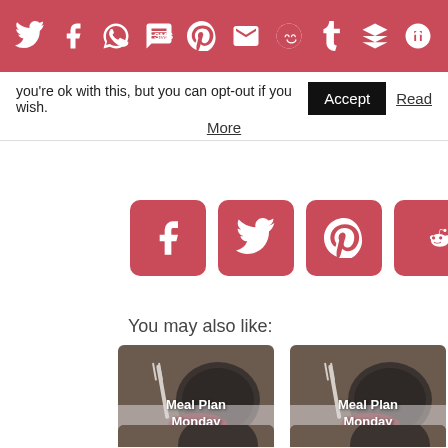[Figure (other): Top social sharing icon bar with Twitter, Facebook, WhatsApp, SMS, Pinterest, Gmail, Reddit, Tumblr, Buffer, and share icons on red background]
you're ok with this, but you can opt-out if you wish. Accept Read More
[Figure (other): Row of five social media sharing buttons (Facebook, Twitter, Pinterest, Reddit, share/Buffer) with red rounded square backgrounds]
You may also like:
[Figure (other): Thumbnail image of plate with fork and Meal Plan Monday text overlay]
Meal Plan Monday: 6/24-6/30-19
[Figure (other): Thumbnail image of plate with fork and Meal Plan Monday text overlay]
Meal Plan Monday: 12/31/18-1/6/19